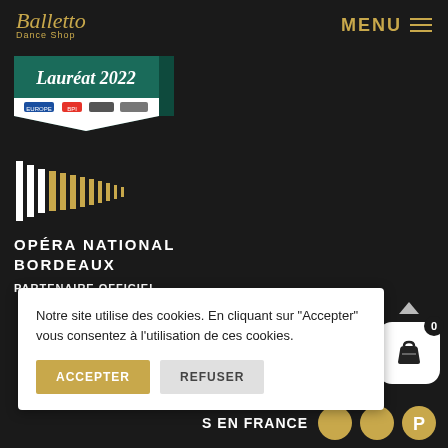Balletto Dance Shop | MENU
[Figure (logo): Laureat 2022 badge with teal and white ribbon design]
[Figure (logo): Opera National Bordeaux vertical bar logo in white and gold]
OPÉRA NATIONAL BORDEAUX
PARTENAIRE OFFICIEL
Notre site utilise des cookies. En cliquant sur "Accepter" vous consentez à l'utilisation de ces cookies.
ACCEPTER
REFUSER
S EN FRANCE